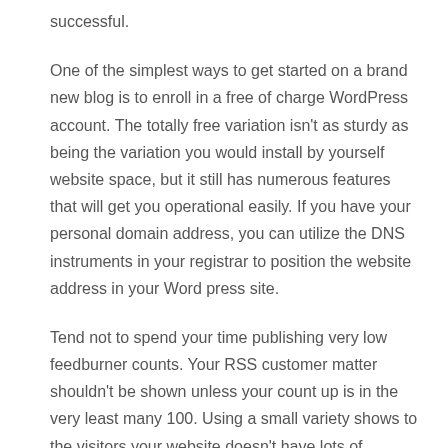successful.
One of the simplest ways to get started on a brand new blog is to enroll in a free of charge WordPress account. The totally free variation isn't as sturdy as being the variation you would install by yourself website space, but it still has numerous features that will get you operational easily. If you have your personal domain address, you can utilize the DNS instruments in your registrar to position the website address in your Word press site.
Tend not to spend your time publishing very low feedburner counts. Your RSS customer matter shouldn't be shown unless your count up is in the very least many 100. Using a small variety shows to the visitors your website doesn't have lots of viewers. This may not be a great approach to getting new followers to the blog site.
After you have a proven visitors, take into account monetizing your blog site. There are several methods for achieving this, depending